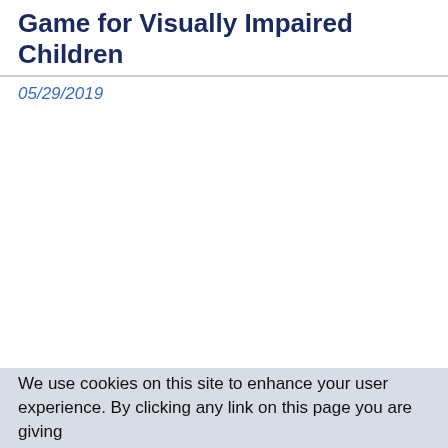... Students and Scientists Develop a Game for Visually Impaired Children
05/29/2019
We use cookies on this site to enhance your user experience. By clicking any link on this page you are giving